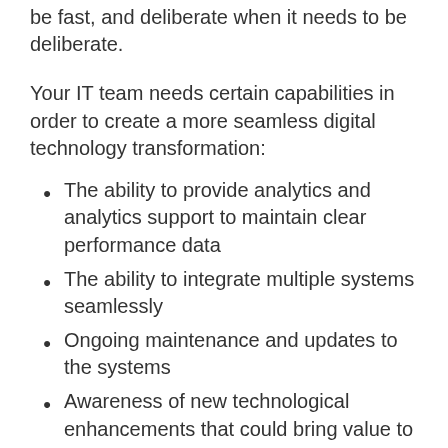be fast, and deliberate when it needs to be deliberate.
Your IT team needs certain capabilities in order to create a more seamless digital technology transformation:
The ability to provide analytics and analytics support to maintain clear performance data
The ability to integrate multiple systems seamlessly
Ongoing maintenance and updates to the systems
Awareness of new technological enhancements that could bring value to the business